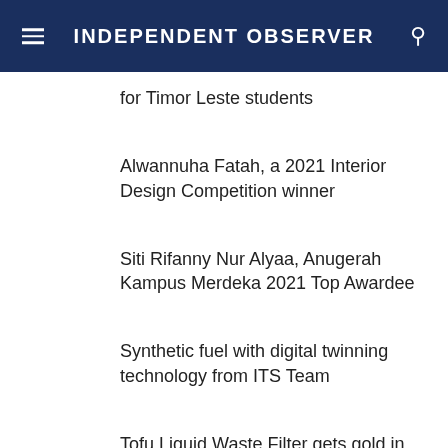INDEPENDENT OBSERVER
for Timor Leste students
Alwannuha Fatah, a 2021 Interior Design Competition winner
Siti Rifanny Nur Alyaa, Anugerah Kampus Merdeka 2021 Top Awardee
Synthetic fuel with digital twinning technology from ITS Team
Tofu Liquid Waste Filter gets gold in I3ASPO 2021